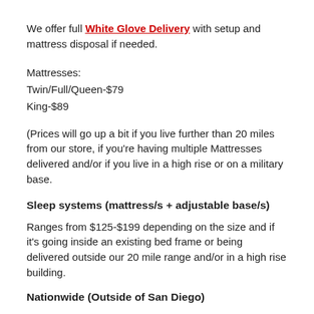We offer full White Glove Delivery with setup and mattress disposal if needed.
Mattresses:
Twin/Full/Queen-$79
King-$89
(Prices will go up a bit if you live further than 20 miles from our store, if you're having multiple Mattresses delivered and/or if you live in a high rise or on a military base.
Sleep systems (mattress/s + adjustable base/s)
Ranges from $125-$199 depending on the size and if it's going inside an existing bed frame or being delivered outside our 20 mile range and/or in a high rise building.
Nationwide (Outside of San Diego)
Free drop off delivery to your door step, no setup or removal